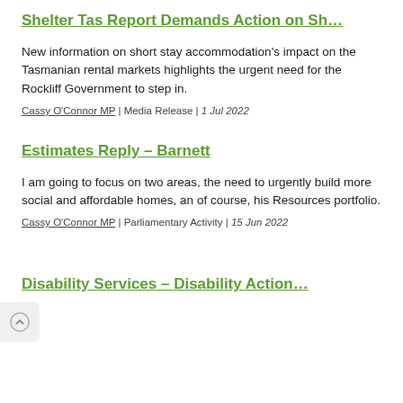Shelter Tas Report Demands Action on Sh…
New information on short stay accommodation's impact on the Tasmanian rental markets highlights the urgent need for the Rockliff Government to step in.
Cassy O'Connor MP | Media Release | 1 Jul 2022
Estimates Reply – Barnett
I am going to focus on two areas, the need to urgently build more social and affordable homes, an of course, his Resources portfolio.
Cassy O'Connor MP | Parliamentary Activity | 15 Jun 2022
Disability Services – Disability Action…